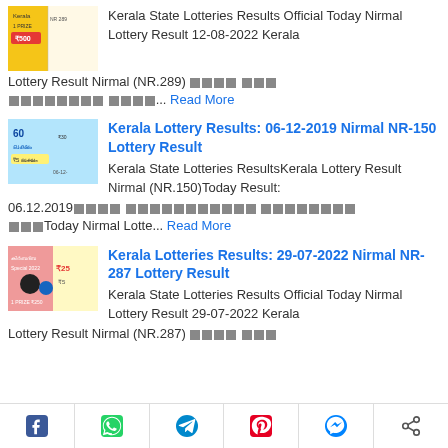[Figure (photo): Kerala lottery ticket thumbnail - Nirmal NR-289]
Kerala State Lotteries Results Official Today Nirmal Lottery Result 12-08-2022 Kerala Lottery Result Nirmal (NR.289) [redacted text]... Read More
[Figure (photo): Kerala lottery ticket thumbnail - Nirmal NR-150, shows 60 laksham prize]
Kerala Lottery Results: 06-12-2019 Nirmal NR-150 Lottery Result
Kerala State Lotteries ResultsKerala Lottery Result Nirmal (NR.150)Today Result: 06.12.2019[redacted]Today Nirmal Lotte... Read More
[Figure (photo): Kerala lottery ticket thumbnail - Nirmal NR-287]
Kerala Lotteries Results: 29-07-2022 Nirmal NR-287 Lottery Result
Kerala State Lotteries Results Official Today Nirmal Lottery Result 29-07-2022 Kerala Lottery Result Nirmal (NR.287) [redacted text]
Social share buttons: Facebook, WhatsApp, Telegram, Pinterest, Messenger, Share